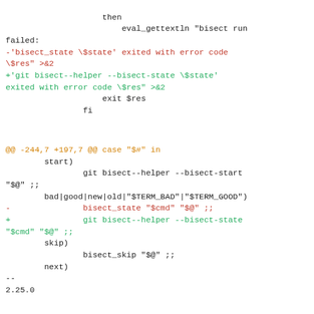then
                eval_gettextln "bisect run failed:
-'bisect_state \$state' exited with error code \$res" >&2
+'git bisect--helper --bisect-state \$state' exited with error code \$res" >&2
                exit $res
            fi
@@ -244,7 +197,7 @@ case "$#" in
        start)
                git bisect--helper --bisect-start "$@" ;;
        bad|good|new|old|"$TERM_BAD"|"$TERM_GOOD")
-               bisect_state "$cmd" "$@" ;;
+               git bisect--helper --bisect-state "$cmd" "$@" ;;
        skip)
                bisect_skip "$@" ;;
        next)
--
2.25.0
^ permalink raw reply    [flat|nested] 24+ messages in thread
* [PATCH v5 11/13] bisect--helper: retire `--check-expected-revs` subcommand